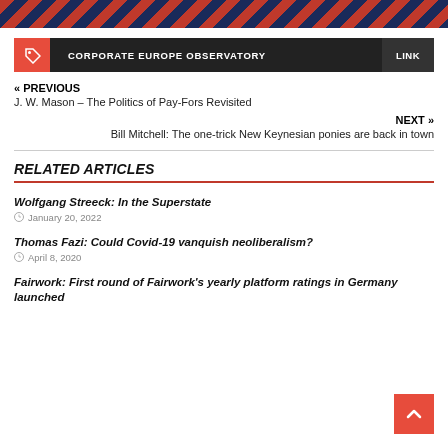[Figure (illustration): Red and dark blue diagonal striped banner pattern at the top of the page]
CORPORATE EUROPE OBSERVATORY   LINK
« PREVIOUS
J. W. Mason – The Politics of Pay-Fors Revisited
NEXT »
Bill Mitchell: The one-trick New Keynesian ponies are back in town
RELATED ARTICLES
Wolfgang Streeck: In the Superstate
January 20, 2022
Thomas Fazi: Could Covid-19 vanquish neoliberalism?
April 8, 2020
Fairwork: First round of Fairwork's yearly platform ratings in Germany launched